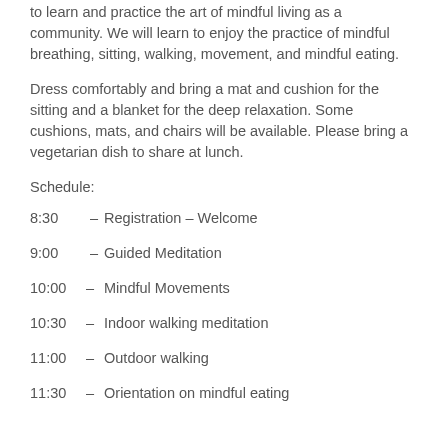to learn and practice the art of mindful living as a community. We will learn to enjoy the practice of mindful breathing, sitting, walking, movement, and mindful eating.
Dress comfortably and bring a mat and cushion for the sitting and a blanket for the deep relaxation. Some cushions, mats, and chairs will be available. Please bring a vegetarian dish to share at lunch.
Schedule:
8:30    – Registration – Welcome
9:00    – Guided Meditation
10:00  – Mindful Movements
10:30  – Indoor walking meditation
11:00  – Outdoor walking
11:30  – Orientation on mindful eating